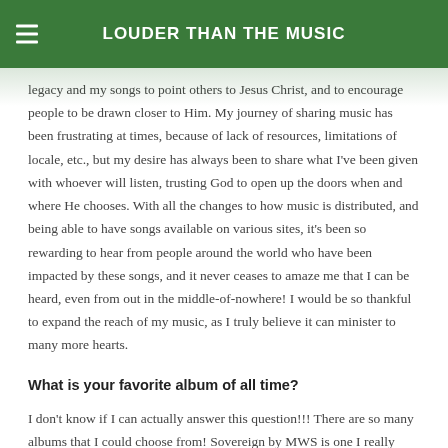LOUDER THAN THE MUSIC
legacy and my songs to point others to Jesus Christ, and to encourage people to be drawn closer to Him. My journey of sharing music has been frustrating at times, because of lack of resources, limitations of locale, etc., but my desire has always been to share what I've been given with whoever will listen, trusting God to open up the doors when and where He chooses. With all the changes to how music is distributed, and being able to have songs available on various sites, it's been so rewarding to hear from people around the world who have been impacted by these songs, and it never ceases to amaze me that I can be heard, even from out in the middle-of-nowhere! I would be so thankful to expand the reach of my music, as I truly believe it can minister to many more hearts.
What is your favorite album of all time?
I don't know if I can actually answer this question!!! There are so many albums that I could choose from! Sovereign by MWS is one I really like. Also Chris Tomlin's How Great Is Our God, Then The Reason by